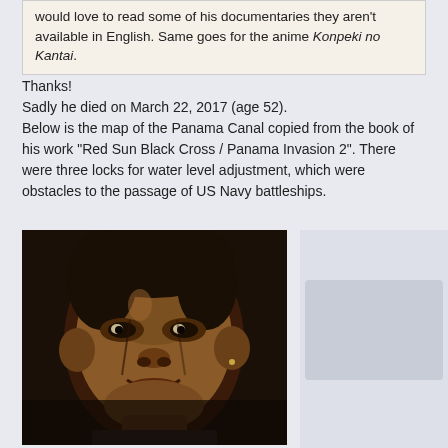would love to read some of his documentaries they aren't available in English. Same goes for the anime Konpeki no Kantai.
Thanks!
Sadly he died on March 22, 2017 (age 52).
Below is the map of the Panama Canal copied from the book of his work "Red Sun Black Cross / Panama Invasion 2". There were three locks for water level adjustment, which were obstacles to the passage of US Navy battleships.
[Figure (photo): Portrait photo of a middle-aged Asian man with short dark hair, smiling slightly, wearing a dark shirt. The photo appears to be a close-up headshot with a dark background.]